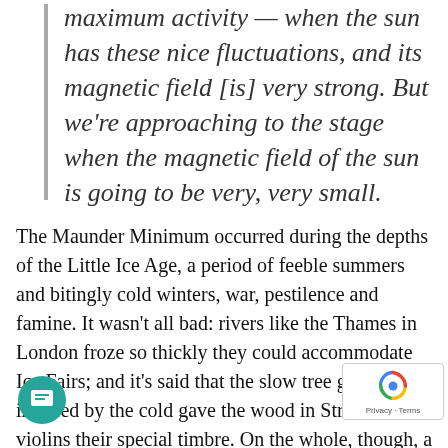maximum activity — when the sun has these nice fluctuations, and its magnetic field [is] very strong. But we're approaching to the stage when the magnetic field of the sun is going to be very, very small.
The Maunder Minimum occurred during the depths of the Little Ice Age, a period of feeble summers and bitingly cold winters, war, pestilence and famine. It wasn't all bad: rivers like the Thames in London froze so thickly they could accommodate Ice Fairs; and it's said that the slow tree growth induced by the cold gave the wood in Stradivarius violins their special timbre. On the whole, though, a descent into a new